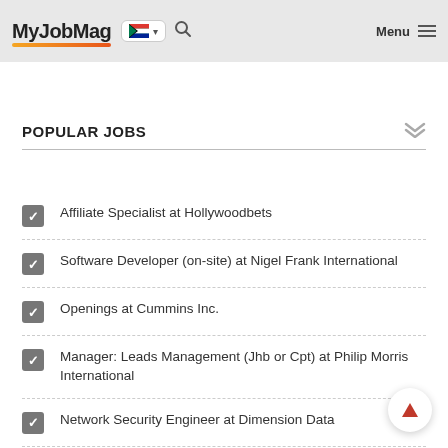MyJobMag Menu
POPULAR JOBS
Affiliate Specialist at Hollywoodbets
Software Developer (on-site) at Nigel Frank International
Openings at Cummins Inc.
Manager: Leads Management (Jhb or Cpt) at Philip Morris International
Network Security Engineer at Dimension Data
Jobs at Salt South Africa
Employee Relations Specialist, Customer Service – People eXperience and Technology (CS PXT) at Amazon